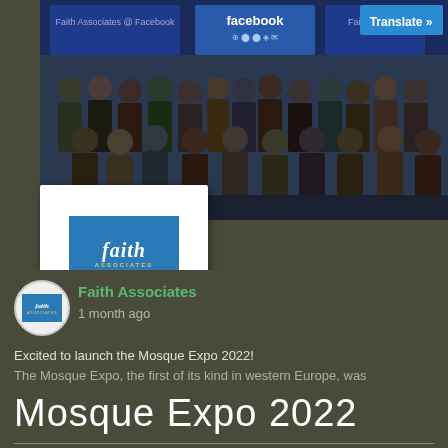[Figure (photo): Group photo of many people standing in front of a Facebook branded backdrop/banner at the Faith Associates @ Facebook event. A blue banner with 'facebook' logo and icons is visible at the top.]
[Figure (logo): Faith Associates logo - blue square with 'faith' text in white italic and 'ASSOCIATES' in gold, with 'EMPOWERING COMMUNITIES' beneath in grey text on white card background.]
Translate »
[Figure (logo): Faith Associates circular avatar/profile picture showing blue logo]
Faith Associates
1 month ago
Excited to launch the Mosque Expo 2022!
The Mosque Expo, the first of its kind in western Europe, was
Mosque Expo 2022